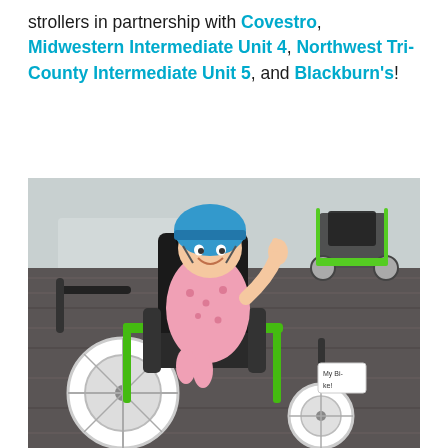strollers in partnership with Covestro, Midwestern Intermediate Unit 4, Northwest Tri-County Intermediate Unit 5, and Blackburn's!
[Figure (photo): A young girl wearing a blue helmet sits in a green adaptive tricycle/stroller with black seating support, giving thumbs up. In the background is another green adaptive stroller. The setting appears to be an indoor venue with patterned carpet.]